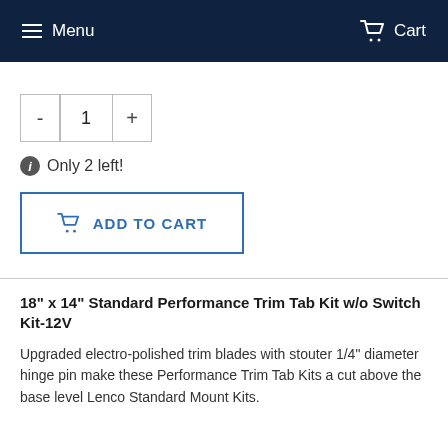Menu  Cart
- 1 + (quantity control)
Only 2 left!
ADD TO CART
18" x 14" Standard Performance Trim Tab Kit w/o Switch Kit-12V
Upgraded electro-polished trim blades with stouter 1/4" diameter hinge pin make these Performance Trim Tab Kits a cut above the base level Lenco Standard Mount Kits.